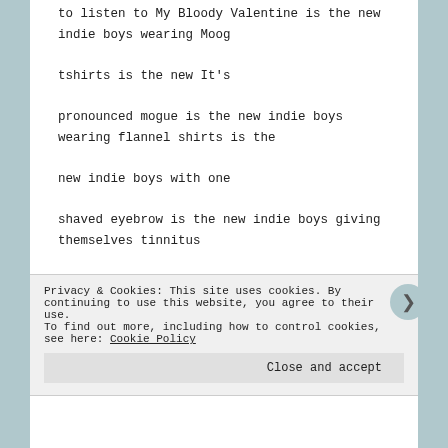to listen to My Bloody Valentine is the new indie boys wearing Moog tshirts is the new It's pronounced mogue is the new indie boys wearing flannel shirts is the new indie boys with one shaved eyebrow is the new indie boys giving themselves tinnitus from standing too close to the speakers at Lightning Bolt is the new indie boys telling you your fringe is the most interesting thing about you is the new indie boys buying Polaroid cameras is the new indie boys telling you this isn't a date is the new indie boys telling you your little finger isn't strong enough for bar
Privacy & Cookies: This site uses cookies. By continuing to use this website, you agree to their use. To find out more, including how to control cookies, see here: Cookie Policy
Close and accept